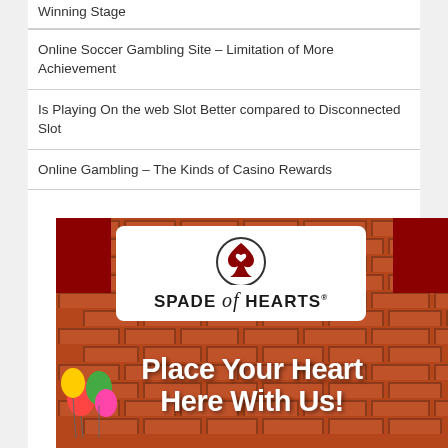Online Soccer Gambling Site – Limitation of More Achievement
Is Playing On the web Slot Better compared to Disconnected Slot
Online Gambling – The Kinds of Casino Rewards
[Figure (photo): Spade of Hearts casino advertisement banner with logo, brick wall background, balloons, and text 'Place Your Heart Here With Us!']